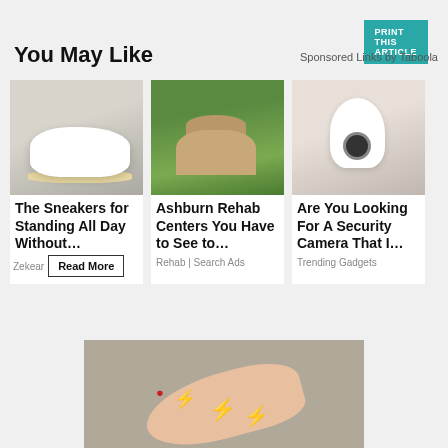PRINT THIS ARTICLE
You May Like
Sponsored Links by Taboola
[Figure (photo): Photo of white sneakers on feet]
The Sneakers for Standing All Day Without…
Zekear
Read More
[Figure (photo): Aerial photo of Ashburn rehab center building with green landscape]
Ashburn Rehab Centers You Have to See to…
Rehab | Search Ads
[Figure (photo): Hand holding a security camera shaped like a light bulb]
Are You Looking For A Security Camera That I…
Trending Gadgets
[Figure (photo): Photo of a foot with red lightning bolt pain indicators on toes and heel]